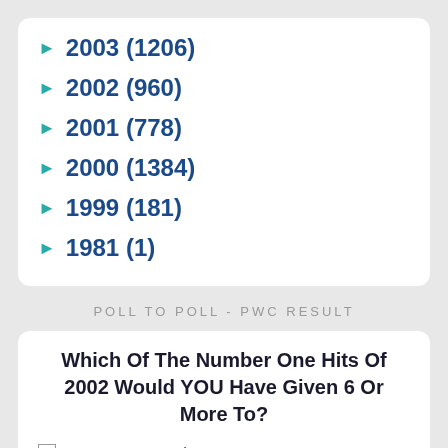► 2003 (1206)
► 2002 (960)
► 2001 (778)
► 2000 (1384)
► 1999 (181)
► 1981 (1)
POLL TO POLL - PWC RESULT
Which Of The Number One Hits Of 2002 Would YOU Have Given 6 Or More To?
AALIYAH - "More Than A Woman"